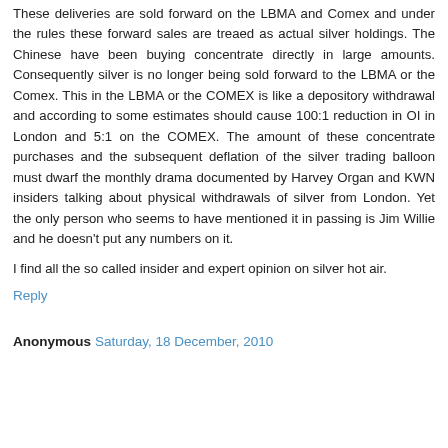These deliveries are sold forward on the LBMA and Comex and under the rules these forward sales are treaed as actual silver holdings. The Chinese have been buying concentrate directly in large amounts. Consequently silver is no longer being sold forward to the LBMA or the Comex. This in the LBMA or the COMEX is like a depository withdrawal and according to some estimates should cause 100:1 reduction in OI in London and 5:1 on the COMEX. The amount of these concentrate purchases and the subsequent deflation of the silver trading balloon must dwarf the monthly drama documented by Harvey Organ and KWN insiders talking about physical withdrawals of silver from London. Yet the only person who seems to have mentioned it in passing is Jim Willie and he doesn't put any numbers on it.
I find all the so called insider and expert opinion on silver hot air.
Reply
Anonymous Saturday, 18 December, 2010